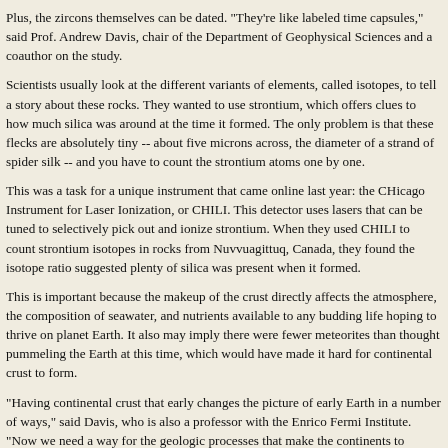Plus, the zircons themselves can be dated. "They're like labeled time capsules," said Prof. Andrew Davis, chair of the Department of Geophysical Sciences and a coauthor on the study.
Scientists usually look at the different variants of elements, called isotopes, to tell a story about these rocks. They wanted to use strontium, which offers clues to how much silica was around at the time it formed. The only problem is that these flecks are absolutely tiny -- about five microns across, the diameter of a strand of spider silk -- and you have to count the strontium atoms one by one.
This was a task for a unique instrument that came online last year: the CHicago Instrument for Laser Ionization, or CHILI. This detector uses lasers that can be tuned to selectively pick out and ionize strontium. When they used CHILI to count strontium isotopes in rocks from Nuvvuagittuq, Canada, they found the isotope ratio suggested plenty of silica was present when it formed.
This is important because the makeup of the crust directly affects the atmosphere, the composition of seawater, and nutrients available to any budding life hoping to thrive on planet Earth. It also may imply there were fewer meteorites than thought pummeling the Earth at this time, which would have made it hard for continental crust to form.
"Having continental crust that early changes the picture of early Earth in a number of ways," said Davis, who is also a professor with the Enrico Fermi Institute. "Now we need a way for the geologic processes that make the continents to happen much faster; you probably need water and magma that's about 600 degrees Fahrenheit less hot."
The study is also confluent with a recent paper by Davis and Boehnke's